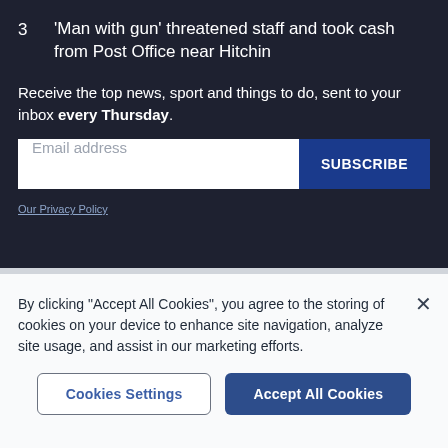3  'Man with gun' threatened staff and took cash from Post Office near Hitchin
Receive the top news, sport and things to do, sent to your inbox every Thursday.
Email address [input] SUBSCRIBE
Our Privacy Policy
By clicking "Accept All Cookies", you agree to the storing of cookies on your device to enhance site navigation, analyze site usage, and assist in our marketing efforts.
Cookies Settings  Accept All Cookies